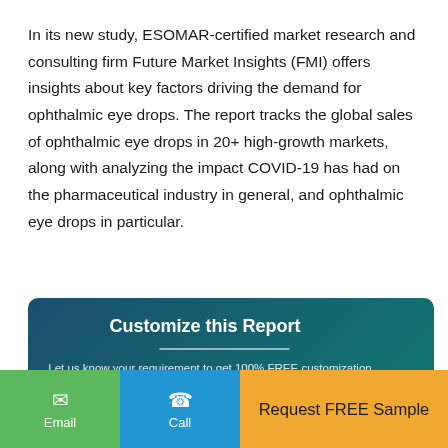In its new study, ESOMAR-certified market research and consulting firm Future Market Insights (FMI) offers insights about key factors driving the demand for ophthalmic eye drops. The report tracks the global sales of ophthalmic eye drops in 20+ high-growth markets, along with analyzing the impact COVID-19 has had on the pharmaceutical industry in general, and ophthalmic eye drops in particular.
[Figure (infographic): Dark teal/blue gradient banner with title 'Customize this Report', subtitle 'Let us know your requirement to get 100% FREE customization', a rounded button, and a scroll-to-top arrow button.]
[Figure (infographic): Bottom navigation bar with green Email button, blue Call button, and orange 'Request FREE Sample' button.]